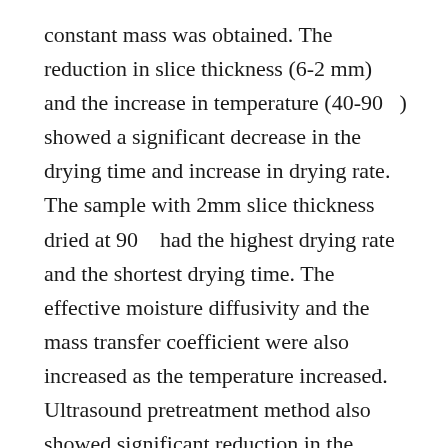constant mass was obtained. The reduction in slice thickness (6-2 mm) and the increase in temperature (40-90 ) showed a significant decrease in the drying time and increase in drying rate. The sample with 2mm slice thickness dried at 90   had the highest drying rate and the shortest drying time. The effective moisture diffusivity and the mass transfer coefficient were also increased as the temperature increased. Ultrasound pretreatment method also showed significant reduction in the drying time for UDW (25%) and UOD (46%) compared to the untreated sample at 70.
The UOD samples also enhanced the colour and retained most of the nutrient (carotenoid, vitamin C and proximate composition) while reducing the anti-